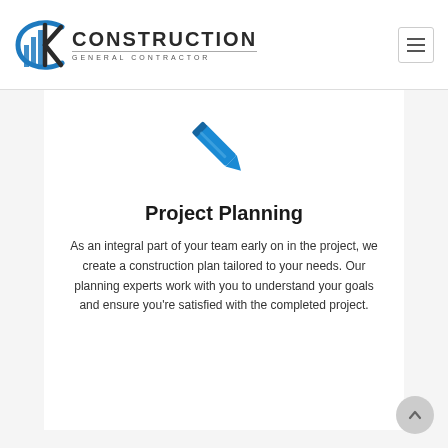CK CONSTRUCTION GENERAL CONTRACTOR
[Figure (illustration): Blue pencil/pen icon pointing diagonally upward-right]
Project Planning
As an integral part of your team early on in the project, we create a construction plan tailored to your needs. Our planning experts work with you to understand your goals and ensure you’re satisfied with the completed project.